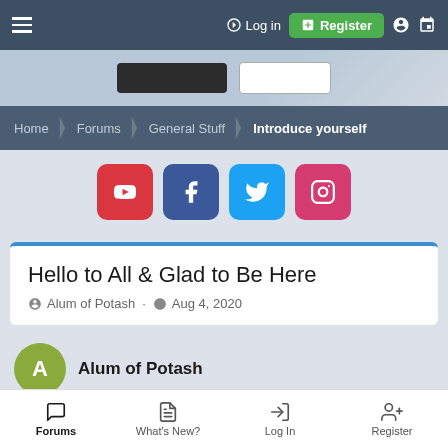Log in | Register
[Figure (screenshot): Banner image with dark and light buttons]
Home > Forums > General Stuff > Introduce yourself
[Figure (infographic): Social media icons: YouTube, Facebook, Twitter, Instagram]
Hello to All & Glad to Be Here
Alum of Potash · Aug 4, 2020
Alum of Potash
Forums | What's New? | Log In | Register